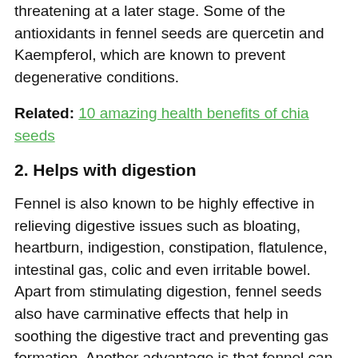threatening at a later stage. Some of the antioxidants in fennel seeds are quercetin and Kaempferol, which are known to prevent degenerative conditions.
Related: 10 amazing health benefits of chia seeds
2. Helps with digestion
Fennel is also known to be highly effective in relieving digestive issues such as bloating, heartburn, indigestion, constipation, flatulence, intestinal gas, colic and even irritable bowel. Apart from stimulating digestion, fennel seeds also have carminative effects that help in soothing the digestive tract and preventing gas formation. Another advantage is that fennel can rebuild the digestive system after chemotherapy or radiation treatments. All you have to do is have a teaspoon of the seeds and you should